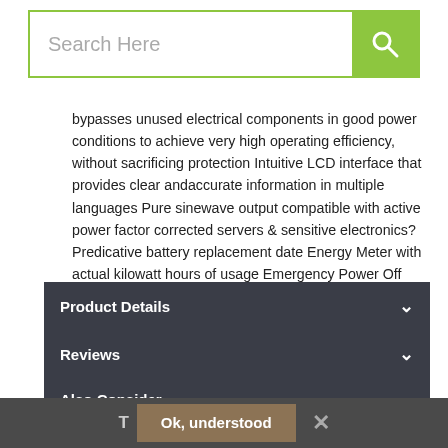Search Here
bypasses unused electrical components in good power conditions to achieve very high operating efficiency, without sacrificing protection Intuitive LCD interface that provides clear andaccurate information in multiple languages Pure sinewave output compatible with active power factor corrected servers & sensitive electronics?Predicative battery replacement date Energy Meter with actual kilowatt hours of usage Emergency Power Off (EPO) switch More from the Manufacturer
Product Details
Reviews
Also Consider
[Figure (photo): Product thumbnail image area with a dark UPS device partially visible]
Ok, understood